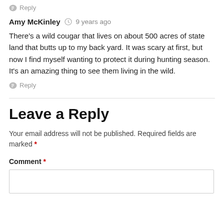Reply
Amy McKinley  9 years ago
There's a wild cougar that lives on about 500 acres of state land that butts up to my back yard. It was scary at first, but now I find myself wanting to protect it during hunting season. It's an amazing thing to see them living in the wild.
Reply
Leave a Reply
Your email address will not be published. Required fields are marked *
Comment *